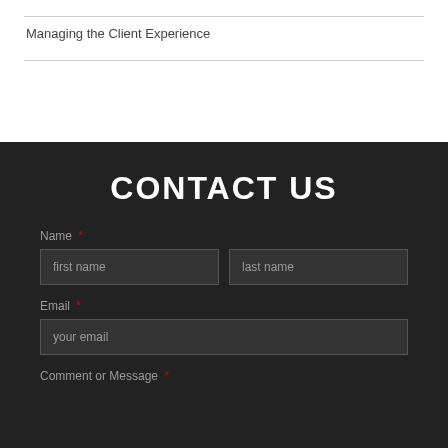Managing the Client Experience
CONTACT US
Name *
[Figure (screenshot): Contact form with first name and last name input fields side by side]
Email *
[Figure (screenshot): Email input field with placeholder 'your email']
Comment or Message *